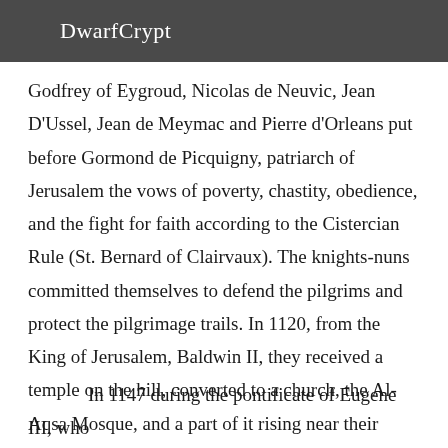DwarfCrypt
Godfrey of Eygroud, Nicolas de Neuvic, Jean D'Ussel, Jean de Meymac and Pierre d'Orleans put before Gormond de Picquigny, patriarch of Jerusalem the vows of poverty, chastity, obedience, and the fight for faith according to the Cistercian Rule (St. Bernard of Clairvaux). The knights-nuns committed themselves to defend the pilgrims and protect the pilgrimage trails. In 1120, from the King of Jerusalem, Baldwin II, they received a temple on the hill, converted to a church, the Al-Aqsa Mosque, and a part of it rising near their palace, which became their quarters.
In 1147 during the pontificate of Eugene III, who